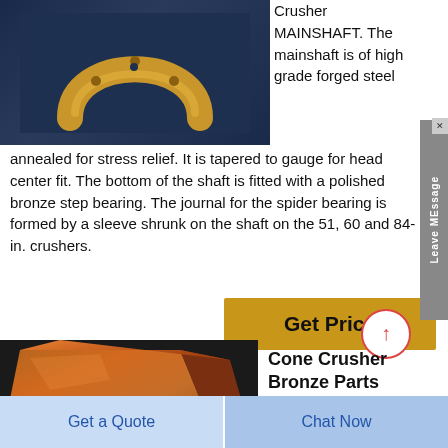[Figure (photo): Bronze horseshoe-shaped ring part (crusher mainshaft component) on dark blue background]
Crusher MAINSHAFT. The mainshaft is of high grade forged steel annealed for stress relief. It is tapered to gauge for head center fit. The bottom of the shaft is fitted with a polished bronze step bearing. The journal for the spider bearing is formed by a sleeve shrunk on the shaft on the 51, 60 and 84-in. crushers.
[Figure (other): Get Price button (yellow/gold background)]
[Figure (other): Scroll-to-top circular arrow button]
Cone Crusher Bronze Parts
Oiming Casting
[Figure (photo): Bronze/copper colored trapezoidal casting block]
Get a Quote
Chat Now